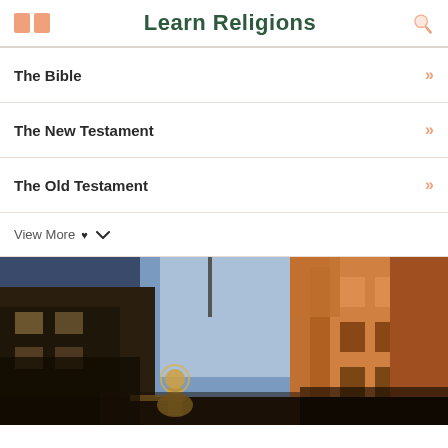Learn Religions
The Bible
The New Testament
The Old Testament
View More
[Figure (photo): A religious procession or statue scene photographed at dusk/night on a narrow city street, with warm orange lighting from buildings on the right and a blue sky visible between the buildings. A golden figure with outstretched arms, possibly a Christ statue, is visible in the lower center.]